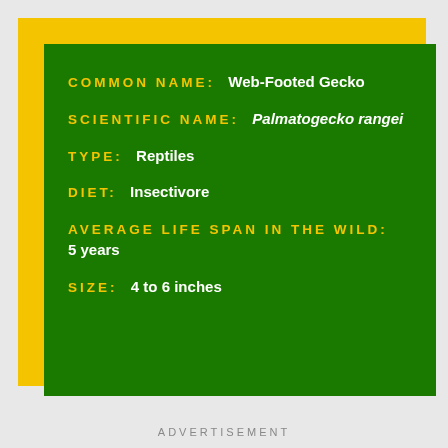COMMON NAME: Web-Footed Gecko
SCIENTIFIC NAME: Palmatogecko rangei
TYPE: Reptiles
DIET: Insectivore
AVERAGE LIFE SPAN IN THE WILD: 5 years
SIZE: 4 to 6 inches
ADVERTISEMENT